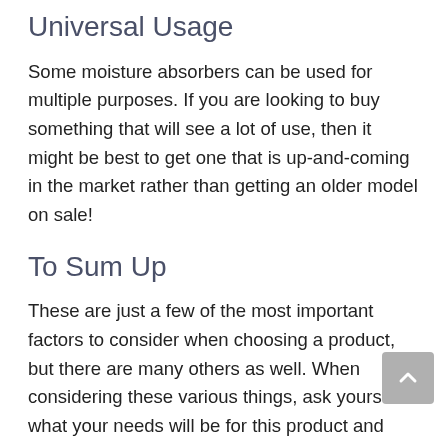Universal Usage
Some moisture absorbers can be used for multiple purposes. If you are looking to buy something that will see a lot of use, then it might be best to get one that is up-and-coming in the market rather than getting an older model on sale!
To Sum Up
These are just a few of the most important factors to consider when choosing a product, but there are many others as well. When considering these various things, ask yourself what your needs will be for this product and how it fits into your current lifestyle. You can then decide which products would be best for you. When choosing a product, it is important to consider a value